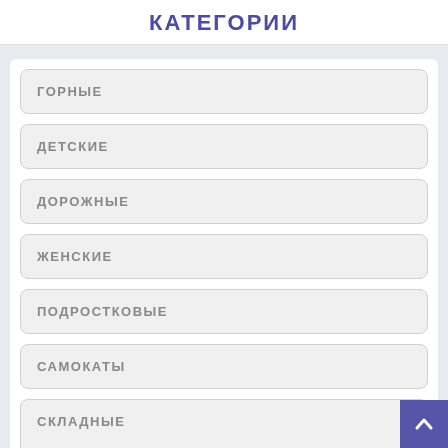КАТЕГОРИИ
ГОРНЫЕ
ДЕТСКИЕ
ДОРОЖНЫЕ
ЖЕНСКИЕ
ПОДРОСТКОВЫЕ
САМОКАТЫ
СКЛАДНЫЕ